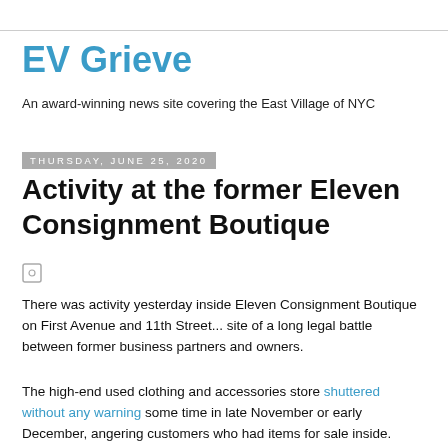EV Grieve
An award-winning news site covering the East Village of NYC
Thursday, June 25, 2020
Activity at the former Eleven Consignment Boutique
There was activity yesterday inside Eleven Consignment Boutique on First Avenue and 11th Street... site of a long legal battle between former business partners and owners.
The high-end used clothing and accessories store shuttered without any warning some time in late November or early December, angering customers who had items for sale inside. (Ditto for the Park Slope location.)